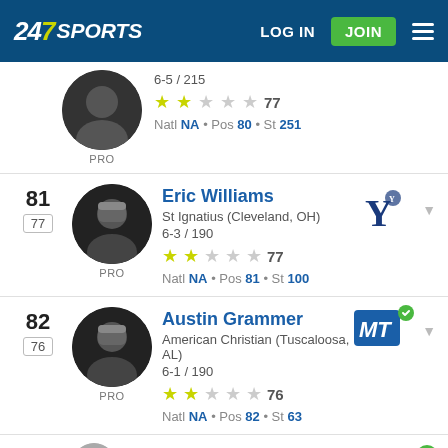247 SPORTS — LOG IN | JOIN
6-5 / 215 | 2 stars 77 | Natl NA • Pos 80 • St 251 | PRO
81 [77] Eric Williams | St Ignatius (Cleveland, OH) | 6-3 / 190 | 2 stars 77 | Natl NA • Pos 81 • St 100 | PRO | Yale
82 [76] Austin Grammer | American Christian (Tuscaloosa, AL) | 6-1 / 190 | 2 stars 76 | Natl NA • Pos 82 • St 63 | PRO | Middle Tennessee